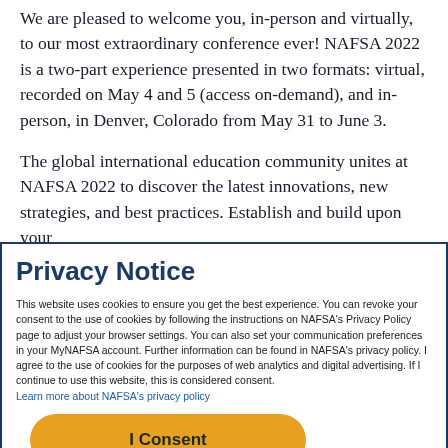We are pleased to welcome you, in-person and virtually, to our most extraordinary conference ever! NAFSA 2022 is a two-part experience presented in two formats: virtual, recorded on May 4 and 5 (access on-demand), and in-person, in Denver, Colorado from May 31 to June 3.
The global international education community unites at NAFSA 2022 to discover the latest innovations, new strategies, and best practices. Establish and build upon your
Privacy Notice
This website uses cookies to ensure you get the best experience. You can revoke your consent to the use of cookies by following the instructions on NAFSA's Privacy Policy page to adjust your browser settings. You can also set your communication preferences in your MyNAFSA account. Further information can be found in NAFSA's privacy policy. I agree to the use of cookies for the purposes of web analytics and digital advertising. If I continue to use this website, this is considered consent. Learn more about NAFSA's privacy policy
I Consent